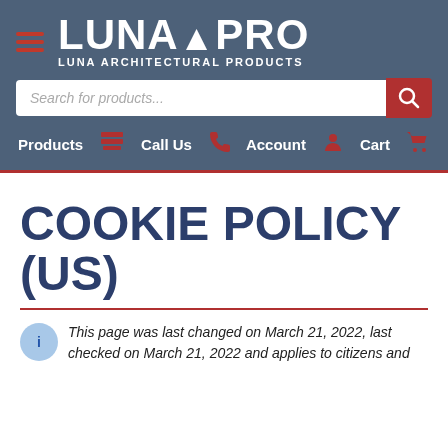[Figure (logo): LunaAPro - Luna Architectural Products logo with hamburger menu icon on dark blue-grey header background]
COOKIE POLICY (US)
This page was last changed on March 21, 2022, last checked on March 21, 2022 and applies to citizens and